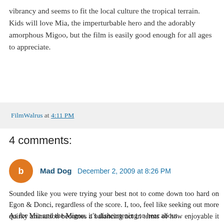vibrancy and seems to fit the local culture the tropical terrain. Kids will love Mia, the imperturbable hero and the adorably amorphous Migoo, but the film is easily good enough for all ages to appreciate.
FilmWalrus at 4:11 PM
4 comments:
Mad Dog December 2, 2009 at 8:26 PM
Sounded like you were trying your best not to come down too hard on Egon & Donci, regardless of the score. I, too, feel like seeking out more quirky animation becomes a balancing act in terms of how enjoyable it is for me at the end of the day. Quay Bros. were quirky as hell, but I enjoy myself a whole lot more watching Disney's Aladdin or Pixar's Up.
As for Mia and the Migou, it's disheartening to hear about